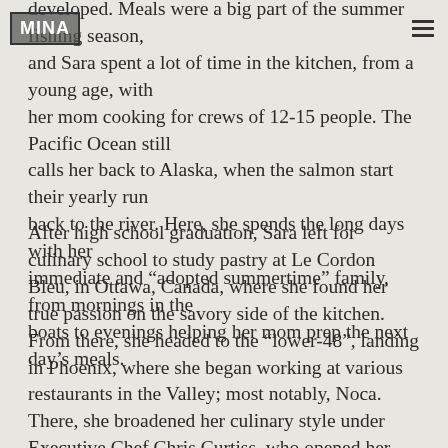MINA
developed. Meals were a big part of the summer fishing season, and Sara spent a lot of time in the kitchen, from a young age, with her mom cooking for crews of 12-15 people. The Pacific Ocean still calls her back to Alaska, when the salmon start their yearly run back to the river. Here, she spends the long days with her immediate and “adopted summertime” family, from mornings in the boats to evenings helping her mom prep the next day’s meals.
After high school graduation, Sara left for culinary school to study pastry at Le Cordon Bleu, in Ottawa, Canada, where she found her true passion on the savory side of the kitchen. From there, she headed to the “lower-48”, landing in Phoenix, where she began working at various restaurants in the Valley; most notably, Noca. There, she broadened her culinary style under Executive Chef Chris Curtiss, who opened her eyes not only to ingredients and cooking techniques she had not been exposed to before, but to a true respect and appreciation of local produce, sustainable seafood, and seasonality of the products used on a daily basis.